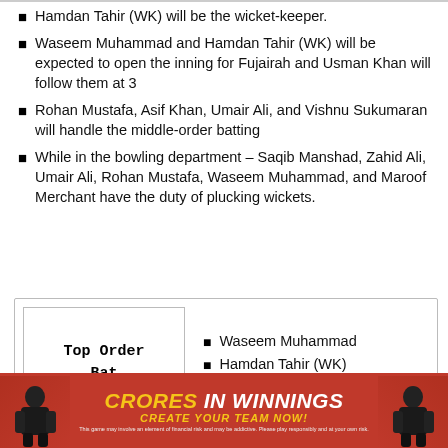Hamdan Tahir (WK) will be the wicket-keeper.
Waseem Muhammad and Hamdan Tahir (WK) will be expected to open the inning for Fujairah and Usman Khan will follow them at 3
Rohan Mustafa, Asif Khan, Umair Ali, and Vishnu Sukumaran will handle the middle-order batting
While in the bowling department – Saqib Manshad, Zahid Ali, Umair Ali, Rohan Mustafa, Waseem Muhammad, and Maroof Merchant have the duty of plucking wickets.
| Top Order Bat | Players |
| --- | --- |
| Top Order Bat | Waseem Muhammad
Hamdan Tahir (WK)
Usman Khan |
[Figure (infographic): Red advertisement banner with cricket players on each side, text reads CRORES IN WINNINGS in yellow italic bold, CREATE YOUR TEAM NOW! in yellow below, and disclaimer text at the bottom.]